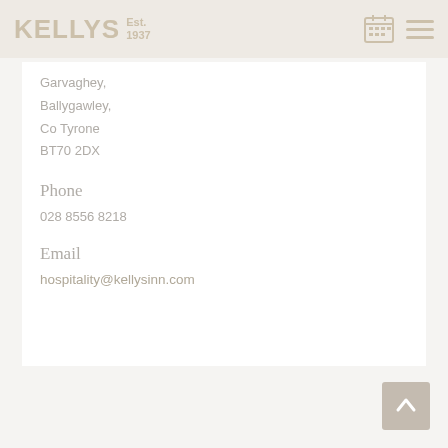KELLYS Est. 1937
Garvaghey,
Ballygawley,
Co Tyrone
BT70 2DX
Phone
028 8556 8218
Email
hospitality@kellysinn.com